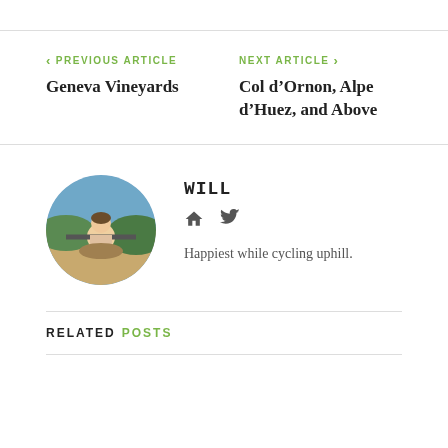< PREVIOUS ARTICLE
Geneva Vineyards
NEXT ARTICLE >
Col d’Ornon, Alpe d’Huez, and Above
[Figure (photo): Circular profile photo of author Will, outdoors in a sunny landscape.]
WILL
Happiest while cycling uphill.
RELATED POSTS